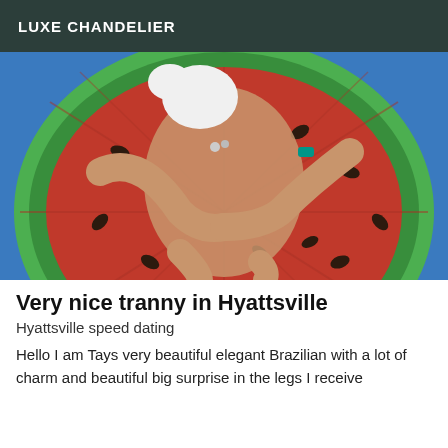LUXE CHANDELIER
[Figure (photo): Person lying on a large inflatable watermelon pool float, wearing a white bikini top, photographed from above. The float is red with green edges and black seed-like markings.]
Very nice tranny in Hyattsville
Hyattsville speed dating
Hello I am Tays very beautiful elegant Brazilian with a lot of charm and beautiful big surprise in the legs I receive